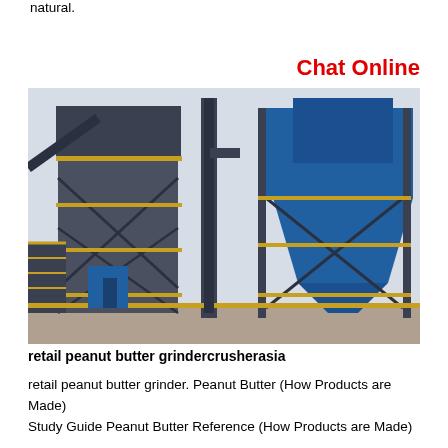natural.
Chat Online
[Figure (photo): Large industrial milling or grinding plant facility, predominantly blue-painted steel structure with scaffolding, stairs, conveyors, and cyclone dust collectors, photographed from ground level against a light sky.]
retail peanut butter grindercrusherasia
retail peanut butter grinder. Peanut Butter (How Products are Made) Study Guide Peanut Butter Reference (How Products are Made)